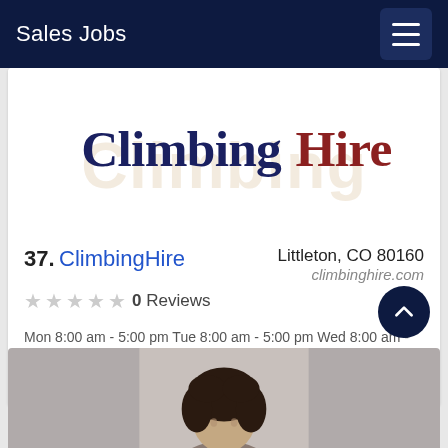Sales Jobs
[Figure (logo): ClimbingHire logo — company name in blue and dark red text]
37. ClimbingHire    Littleton, CO 80160
★★★★★ 0 Reviews    climbinghire.com
Mon 8:00 am - 5:00 pm Tue 8:00 am - 5:00 pm Wed 8:00 am - 5:00 pm Thu 8:00 am - 5:00 pm Fri 8:00 am - 5:00 pm Sat Closed Sun Closed
[Figure (photo): Partial photo of a person with dark curly hair, cropped at bottom of page]